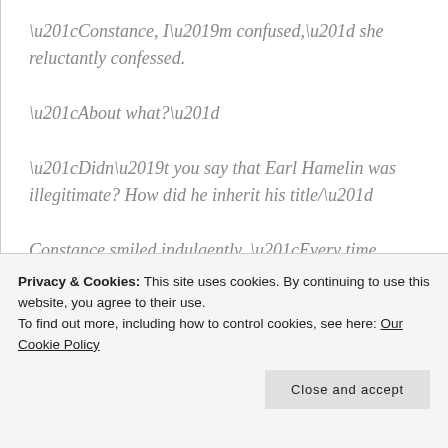“Constance, I’m confused,” she reluctantly confessed.
“About what?”
“Didn’t you say that Earl Hamelin was illegitimate? How did he inherit his title/”
Constance smiled indulgently. “Every time
Privacy & Cookies: This site uses cookies. By continuing to use this website, you agree to their use.
To find out more, including how to control cookies, see here: Our Cookie Policy
“My mind is wandering because so much of